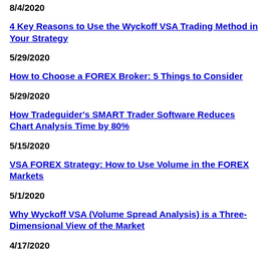8/4/2020
4 Key Reasons to Use the Wyckoff VSA Trading Method in Your Strategy
5/29/2020
How to Choose a FOREX Broker: 5 Things to Consider
5/29/2020
How Tradeguider's SMART Trader Software Reduces Chart Analysis Time by 80%
5/15/2020
VSA FOREX Strategy: How to Use Volume in the FOREX Markets
5/1/2020
Why Wyckoff VSA (Volume Spread Analysis) is a Three-Dimensional View of the Market
4/17/2020